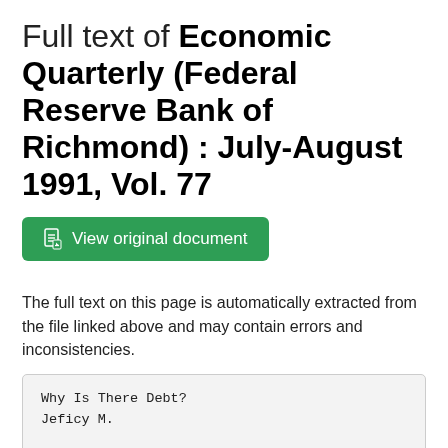Full text of Economic Quarterly (Federal Reserve Bank of Richmond) : July-August 1991, Vol. 77
[Figure (other): Green button: View original document]
The full text on this page is automatically extracted from the file linked above and may contain errors and inconsistencies.
Why Is There Debt?
Jeficy M.

The striking feature of debt contracts is that over